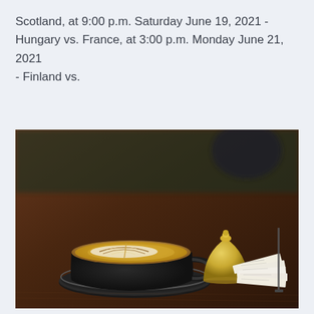Scotland, at 9:00 p.m. Saturday June 19, 2021 - Hungary vs. France, at 3:00 p.m. Monday June 21, 2021 - Finland vs.
[Figure (photo): A latte with leaf latte art in a dark ceramic cup on a saucer, sitting on a wooden table next to a brass service bell and a stack of paper receipts.]